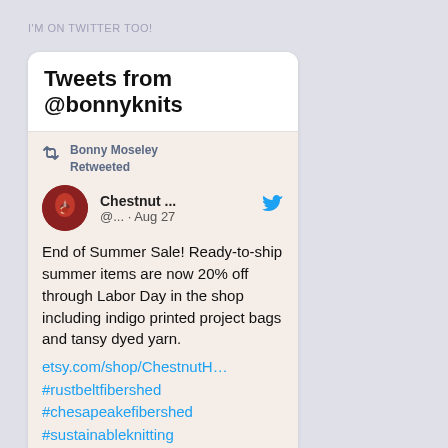I'M ON TWITTER TOO!
Tweets from @bonnyknits
[Figure (screenshot): Twitter widget screenshot showing a retweet by Bonny Moseley of a Chestnut ... account tweet from Aug 27. Tweet text: End of Summer Sale! Ready-to-ship summer items are now 20% off through Labor Day in the shop including indigo printed project bags and tansy dyed yarn. etsy.com/shop/ChestnutH… #rustbeltfibershed #chesapeakefibershed #sustainableknitting]